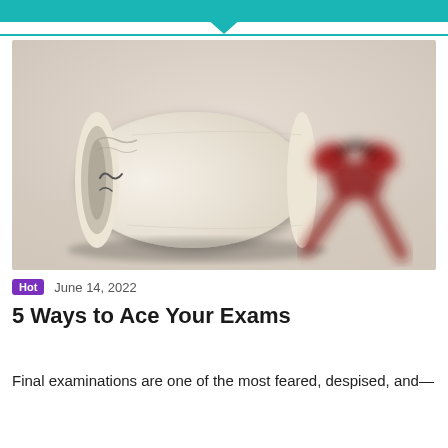[Figure (photo): A rolled diploma scroll tied with a red ribbon, photographed on a light beige surface with soft focus background.]
Hot   June 14, 2022
5 Ways to Ace Your Exams
Final examinations are one of the most feared, despised, and—